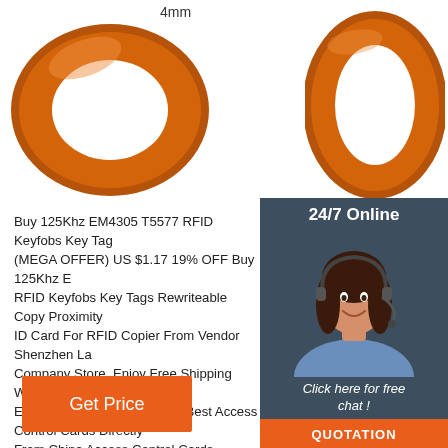[Figure (photo): Two orange RFID silicone wristbands/keyfobs shown from different angles on white background, with '4mm' label visible]
[Figure (photo): Customer service woman with headset smiling, overlaid on dark blue-grey panel with '24/7 Online' header, 'Click here for free chat!' text, and orange QUOTATION button]
Buy 125Khz EM4305 T5577 RFID Keyfobs Key Tag (MEGA OFFER) US $1.17 19% OFF Buy 125Khz EM4305 T5577 RFID Keyfobs Key Tags Rewriteable Copy Proximity ID Card For RFID Copier From Vendor Shenzhen La Company Store. Enjoy Free Shipping Worldwide! Li Easy Return. Shop Quality & Best Access Control Cards Directly From China Access Control Cards Suppliers.
[Figure (other): Orange 'Get Price' button]
[Figure (other): Orange TOP navigation icon with dots above text 'TOP']